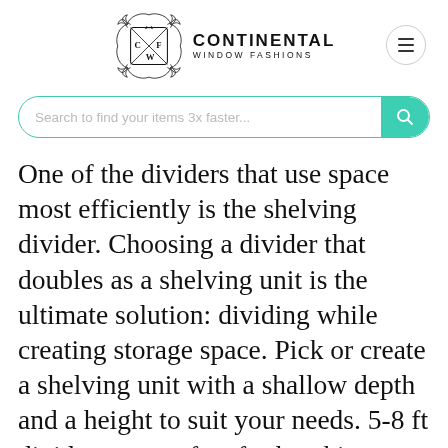CONTINENTAL WINDOW FASHIONS
Search to find your items 3x faster...
One of the dividers that use space most efficiently is the shelving divider. Choosing a divider that doubles as a shelving unit is the ultimate solution: dividing while creating storage space. Pick or create a shelving unit with a shallow depth and a height to suit your needs. 5-8 ft dividers are perfect for breaking up different areas, and to